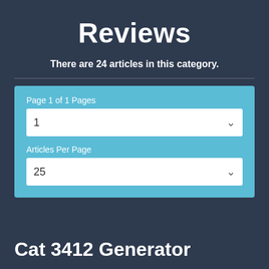Reviews
There are 24 articles in this category.
Page 1 of 1 Pages
1
Articles Per Page
25
Cat 3412 Generator